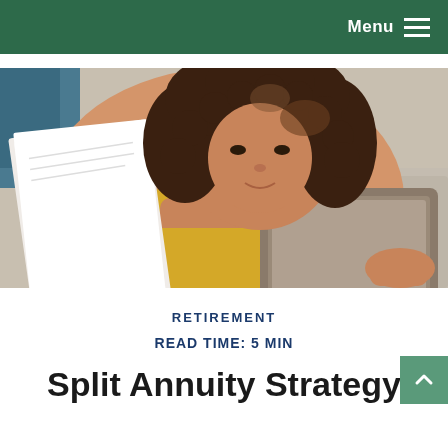Menu
[Figure (photo): Woman with curly hair reading documents while holding a tablet, wearing a yellow top, sitting indoors]
RETIREMENT
READ TIME: 5 MIN
Split Annuity Strategy